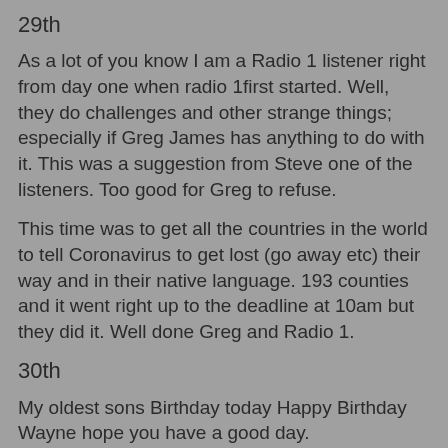29th
As a lot of you know I am a Radio 1 listener right from day one when radio 1first started. Well, they do challenges and other strange things; especially if Greg James has anything to do with it. This was a suggestion from Steve one of the listeners.  Too good for Greg to refuse.
This time was to get all the countries in the world to tell Coronavirus to get lost (go away etc) their way and in their native language. 193 counties and it went right up to the deadline at 10am but they did it. Well done Greg and Radio 1.
30th
My oldest sons Birthday today Happy Birthday Wayne hope you have a good day.
Cleaning upstairs today. Quite warm for this but I got everything done. Soon after Lindsay phoned up and asked if I would have Jamie-Lee for tea and a bit after. course I